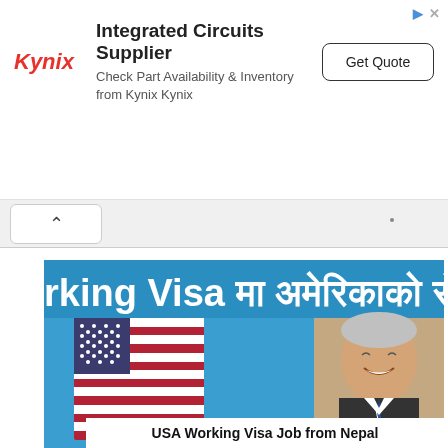[Figure (screenshot): Kynix Integrated Circuits Supplier advertisement banner with logo, text, and Get Quote button]
[Figure (photo): Screenshot of a webpage showing a USA Working Visa Job from Nepal article with an American flag and a smiling man in a suit, with Nepali text overlay reading 'rking Visa maa amerikaako rojag']
USA Working Visa Job from Nepal